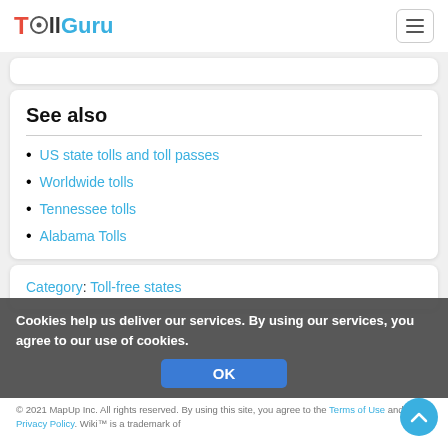TollGuru
See also
US state tolls and toll passes
Worldwide tolls
Tennessee tolls
Alabama Tolls
Category: Toll-free states
Cookies help us deliver our services. By using our services, you agree to our use of cookies.
© 2021 MapUp Inc. All rights reserved. By using this site, you agree to the Terms of Use and Privacy Policy. Wiki™ is a trademark of